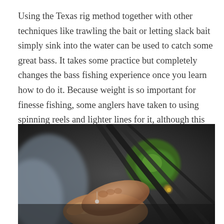Using the Texas rig method together with other techniques like trawling the bait or letting slack bait simply sink into the water can be used to catch some great bass. It takes some practice but completely changes the bass fishing experience once you learn how to do it. Because weight is so important for finesse fishing, some anglers have taken to using spinning reels and lighter lines for it, although this has been met with mixed results.
[Figure (photo): Close-up photograph of a person's hands working with fishing line or a lure, with fishing rods visible in the background including green and dark colored reels.]